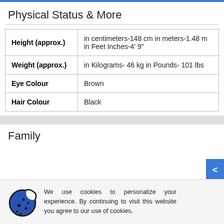Physical Status & More
|  |  |
| --- | --- |
| Height (approx.) | in centimeters-148 cm in meters-1.48 m in Feet Inches-4' 9" |
| Weight (approx.) | in Kilograms- 46 kg in Pounds- 101 lbs |
| Eye Colour | Brown |
| Hair Colour | Black |
Family
We use cookies to personalize your experience. By continuing to visit this website you agree to our use of cookies.